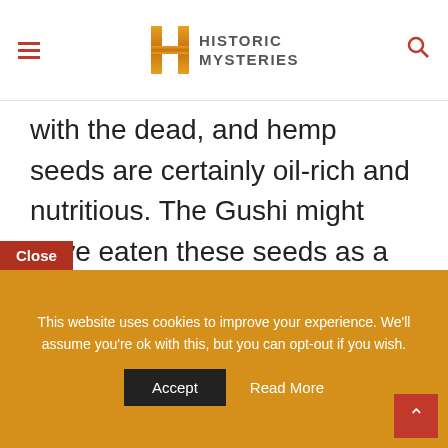Historic Mysteries
with the dead, and hemp seeds are certainly oil-rich and nutritious. The Gushi might have eaten these seeds as a staple. Moreover, one cannot rule out the use of hemp oil for different purposes.
Close
This website uses cookies to improve your experience. We'll assume you're ok with this, but you can opt-out if you wish. Accept Read More